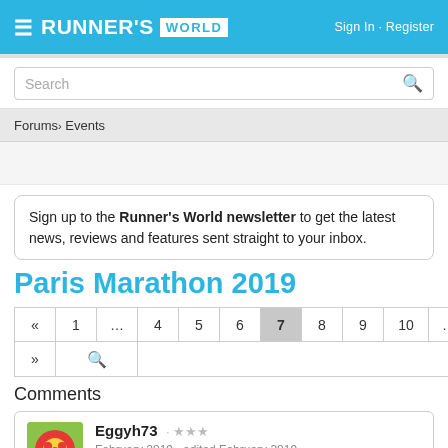RUNNER'S WORLD — Sign In · Register
Search
Forums › Events
Sign up to the Runner's World newsletter to get the latest news, reviews and features sent straight to your inbox.
Paris Marathon 2019
« 1 … 4 5 6 7 8 9 10 … 23 » 🔍
Comments
Eggyh73 · ★★★ February 2019 · edited February 2019